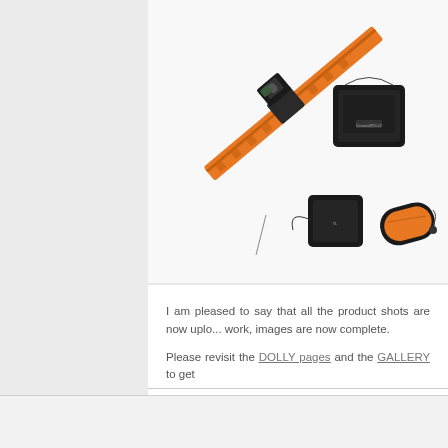[Figure (photo): Camera slider product shot showing an orange aluminum rail slider with camera mounted, black carrying bags, and orange carry case on a white background]
I am pleased to say that all the product shots are now uploaded, images are now complete.
Please revisit the DOLLY pages and the GALLERY to get
Continue Reading »
HOME | WORKSHOPS | RENTALS | TIMELAPSE SA